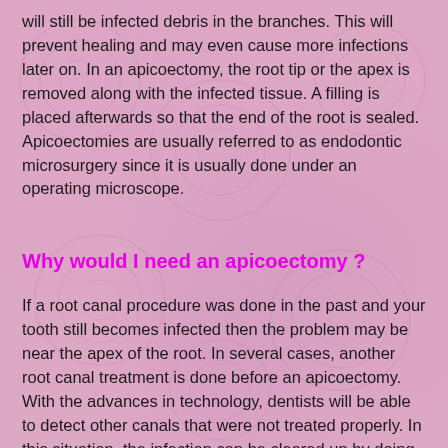will still be infected debris in the branches. This will prevent healing and may even cause more infections later on. In an apicoectomy, the root tip or the apex is removed along with the infected tissue. A filling is placed afterwards so that the end of the root is sealed. Apicoectomies are usually referred to as endodontic microsurgery since it is usually done under an operating microscope.
Why would I need an apicoectomy ?
If a root canal procedure was done in the past and your tooth still becomes infected then the problem may be near the apex of the root. In several cases, another root canal treatment is done before an apicoectomy. With the advances in technology, dentists will be able to detect other canals that were not treated properly. In this situation, the infection can be cleared up by doing a second root canal. When this is done, an apicoectomy is avoided.
An apicoectomy can be done in order to fix the problem so